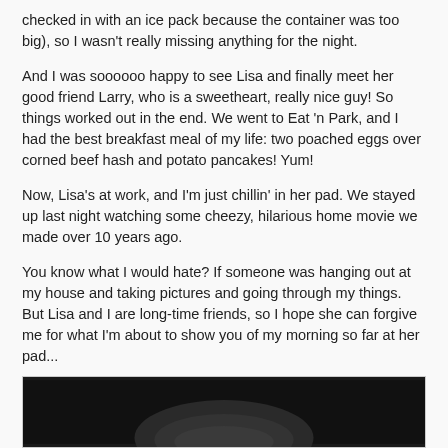checked in with an ice pack because the container was too big), so I wasn't really missing anything for the night.
And I was soooooo happy to see Lisa and finally meet her good friend Larry, who is a sweetheart, really nice guy! So things worked out in the end. We went to Eat 'n Park, and I had the best breakfast meal of my life: two poached eggs over corned beef hash and potato pancakes! Yum!
Now, Lisa's at work, and I'm just chillin' in her pad. We stayed up last night watching some cheezy, hilarious home movie we made over 10 years ago.
You know what I would hate? If someone was hanging out at my house and taking pictures and going through my things. But Lisa and I are long-time friends, so I hope she can forgive me for what I'm about to show you of my morning so far at her pad...
[Figure (photo): Dark/low-light photograph, partially visible at bottom of page, appears to show a person's head/hair from above in black and white or sepia tones.]